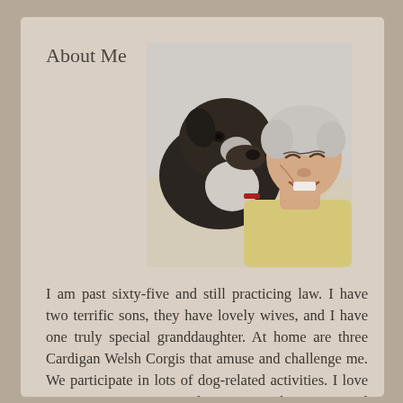About Me
[Figure (photo): A woman laughing while a dark brindle and white dog nuzzles/licks her face. Both are close together in an affectionate moment.]
I am past sixty-five and still practicing law. I have two terrific sons, they have lovely wives, and I have one truly special granddaughter. At home are three Cardigan Welsh Corgis that amuse and challenge me. We participate in lots of dog-related activities. I love my camera, writing, and roaming. I live in central New Mexico because it's where I want to be. Thanks for visiting my blog. Your